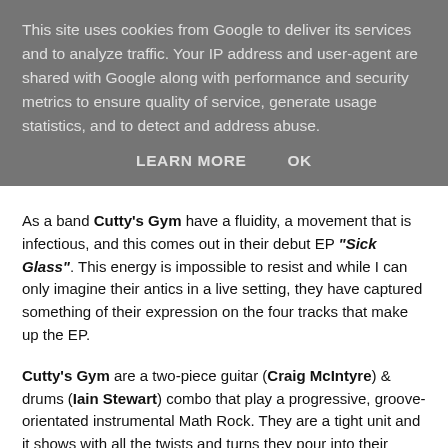This site uses cookies from Google to deliver its services and to analyze traffic. Your IP address and user-agent are shared with Google along with performance and security metrics to ensure quality of service, generate usage statistics, and to detect and address abuse.
LEARN MORE   OK
As a band Cutty's Gym have a fluidity, a movement that is infectious, and this comes out in their debut EP "Sick Glass". This energy is impossible to resist and while I can only imagine their antics in a live setting, they have captured something of their expression on the four tracks that make up the EP.
Cutty's Gym are a two-piece guitar (Craig McIntyre) & drums (Iain Stewart) combo that play a progressive, groove-orientated instrumental Math Rock. They are a tight unit and it shows with all the twists and turns they pour into their tracks.
Their sound reminds me of a stripped-back The Fierce And